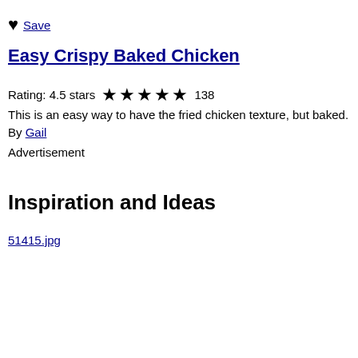♥ Save
Easy Crispy Baked Chicken
Rating: 4.5 stars ★★★★☆ 138
This is an easy way to have the fried chicken texture, but baked.
By Gail
Advertisement
Inspiration and Ideas
51415.jpg